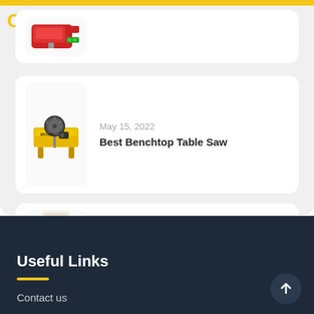[Figure (photo): Partial product card at top, showing red device image]
May 15, 2022
Best Benchtop Table Saw
[Figure (photo): Yellow table saw benchtop product image]
May 15, 2022
Best Adhesive For Wood
[Figure (photo): Gorilla Glue bottle product image]
Useful Links
Contact us